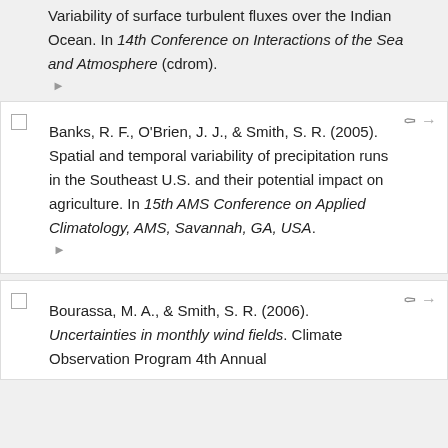Variability of surface turbulent fluxes over the Indian Ocean. In 14th Conference on Interactions of the Sea and Atmosphere (cdrom).
Banks, R. F., O'Brien, J. J., & Smith, S. R. (2005). Spatial and temporal variability of precipitation runs in the Southeast U.S. and their potential impact on agriculture. In 15th AMS Conference on Applied Climatology, AMS, Savannah, GA, USA.
Bourassa, M. A., & Smith, S. R. (2006). Uncertainties in monthly wind fields. Climate Observation Program 4th Annual